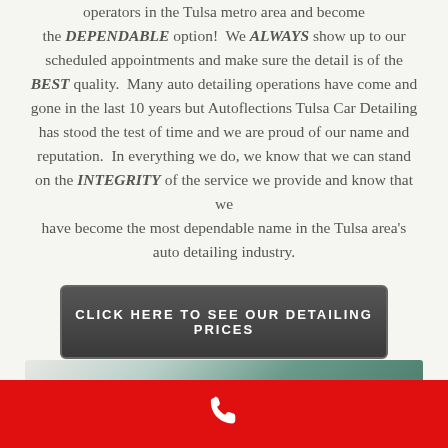operators in the Tulsa metro area and become the DEPENDABLE option! We ALWAYS show up to our scheduled appointments and make sure the detail is of the BEST quality. Many auto detailing operations have come and gone in the last 10 years but Autoflections Tulsa Car Detailing has stood the test of time and we are proud of our name and reputation. In everything we do, we know that we can stand on the INTEGRITY of the service we provide and know that we have become the most dependable name in the Tulsa area's auto detailing industry.
CLICK HERE TO SEE OUR DETAILING PRICES
[Figure (photo): Partial photo strip showing a car interior or exterior detail, partially visible at bottom of page]
Phone icon on red bar